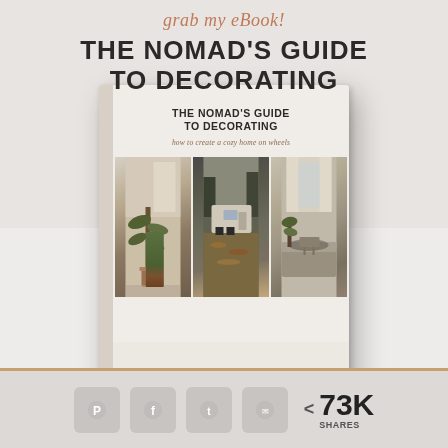grab my eBook!
THE NOMAD'S GUIDE TO DECORATING
[Figure (photo): Book cover of 'The Nomad's Guide to Decorating' by Katie Mathey, showing three interior/exterior RV lifestyle photos and subtitle 'how to create a cozy home on wheels']
< 73K SHARES